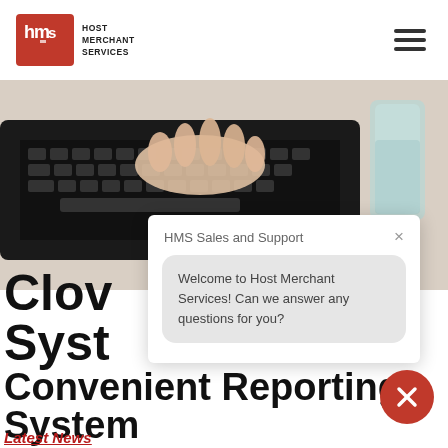[Figure (logo): Host Merchant Services logo with red square icon containing 'hms' letters and company name text]
[Figure (photo): Close-up photo of hands typing on a laptop keyboard with a glass of water in the background]
HMS Sales and Support
Welcome to Host Merchant Services! Can we answer any questions for you?
Clov
Syst
Convenient Reporting System
Latest News